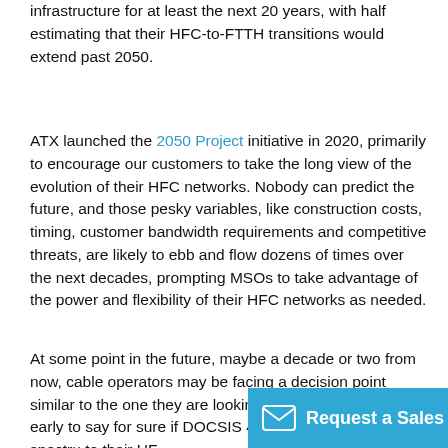infrastructure for at least the next 20 years, with half estimating that their HFC-to-FTTH transitions would extend past 2050.
ATX launched the 2050 Project initiative in 2020, primarily to encourage our customers to take the long view of the evolution of their HFC networks. Nobody can predict the future, and those pesky variables, like construction costs, timing, customer bandwidth requirements and competitive threats, are likely to ebb and flow dozens of times over the next decades, prompting MSOs to take advantage of the power and flexibility of their HFC networks as needed.
At some point in the future, maybe a decade or two from now, cable operators may be facing a decision point similar to the one they are looking at now. It's just too early to say for sure if DOCSIS 4.0 will mark the last spectr… to their HF…